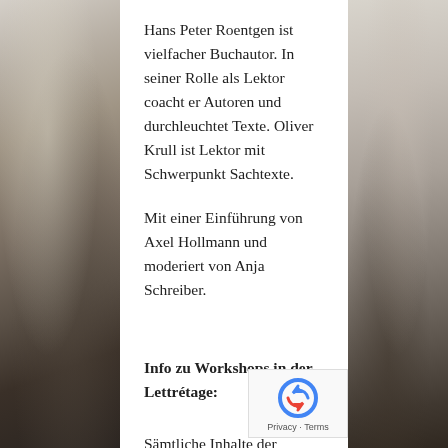[Figure (photo): Photo of people at an event on the left side of the page]
Hans Peter Roentgen ist vielfacher Buchautor. In seiner Rolle als Lektor coacht er Autoren und durchleuchtet Texte. Oliver Krull ist Lektor mit Schwerpunkt Sachtexte.
Mit einer Einführung von Axel Hollmann und moderiert von Anja Schreiber.
Info zu Workshops in der Lettrétage:
Sämtliche Inhalte der
[Figure (photo): Photo of people at an event on the right side of the page]